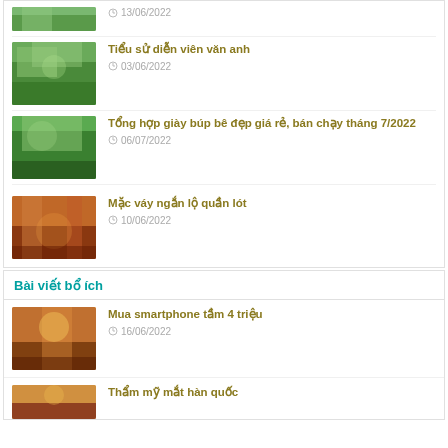Tiểu sử diễn viên văn anh
03/06/2022
Tổng hợp giày búp bê đẹp giá rẻ, bán chạy tháng 7/2022
06/07/2022
Mặc váy ngắn lộ quần lót
10/06/2022
Bài viết bổ ích
Mua smartphone tầm 4 triệu
16/06/2022
Thẩm mỹ mắt hàn quốc